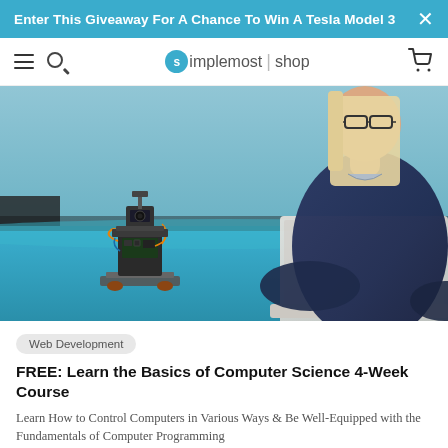Enter This Giveaway For A Chance To Win A Tesla Model 3
simplemost | shop
[Figure (photo): Woman with glasses and blonde hair wearing a navy sweater working on a laptop, with a small robot/electronic device on a blue surface in front of her]
Web Development
FREE: Learn the Basics of Computer Science 4-Week Course
Learn How to Control Computers in Various Ways & Be Well-Equipped with the Fundamentals of Computer Programming
FREE $200.00